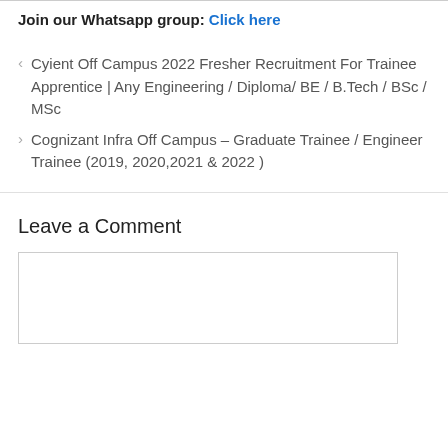Join our Whatsapp group: Click here
Cyient Off Campus 2022 Fresher Recruitment For Trainee Apprentice | Any Engineering / Diploma/ BE / B.Tech / BSc / MSc
Cognizant Infra Off Campus – Graduate Trainee / Engineer Trainee (2019, 2020,2021 & 2022 )
Leave a Comment